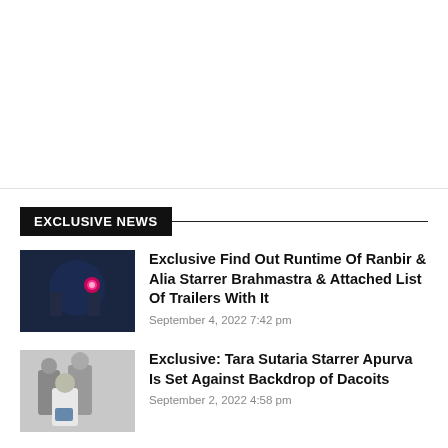[Figure (other): Blank white space at the top of the page, above a horizontal divider line]
EXCLUSIVE NEWS
[Figure (photo): Dark scene with two figures and a glowing red/pink light, movie still from Brahmastra]
Exclusive Find Out Runtime Of Ranbir & Alia Starrer Brahmastra & Attached List Of Trailers With It
September 4, 2022 7:42 pm
[Figure (photo): Group of people including a woman in white posing together, movie still from Apurva]
Exclusive: Tara Sutaria Starrer Apurva Is Set Against Backdrop of Dacoits
September 2, 2022 4:58 pm